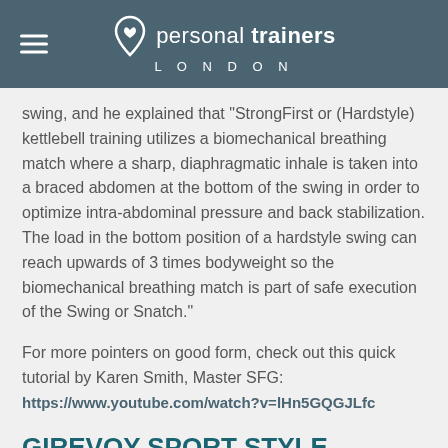personal trainers LONDON
swing, and he explained that "StrongFirst or (Hardstyle) kettlebell training utilizes a biomechanical breathing match where a sharp, diaphragmatic inhale is taken into a braced abdomen at the bottom of the swing in order to optimize intra-abdominal pressure and back stabilization. The load in the bottom position of a hardstyle swing can reach upwards of 3 times bodyweight so the biomechanical breathing match is part of safe execution of the Swing or Snatch."
For more pointers on good form, check out this quick tutorial by Karen Smith, Master SFG: https://www.youtube.com/watch?v=lHn5GQGJLfc
GIREVOY SPORT STYLE KETTLEBELL SWING